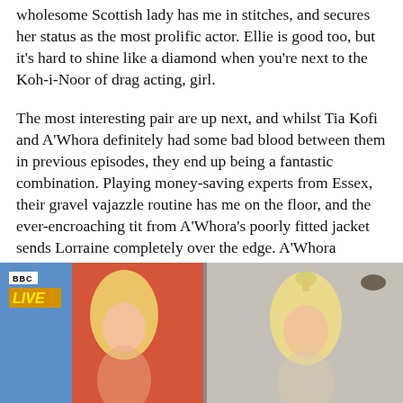wholesome Scottish lady has me in stitches, and secures her status as the most prolific actor. Ellie is good too, but it's hard to shine like a diamond when you're next to the Koh-i-Noor of drag acting, girl.
The most interesting pair are up next, and whilst Tia Kofi and A'Whora definitely had some bad blood between them in previous episodes, they end up being a fantastic combination. Playing money-saving experts from Essex, their gravel vajazzle routine has me on the floor, and the ever-encroaching tit from A'Whora's poorly fitted jacket sends Lorraine completely over the edge. A'Whora definitely shines more, but Tia contributes well and the chemistry between the two is undeniable.
[Figure (screenshot): Screenshot of a BBC LIVE broadcast showing two blonde drag queens side by side on what appears to be a TV talk show set. The left figure is in a colorful studio with blue and orange/red background, and the right figure is in a lighter studio with a brick-pattern background. A BBC logo and yellow LIVE badge appear in the top left corner.]